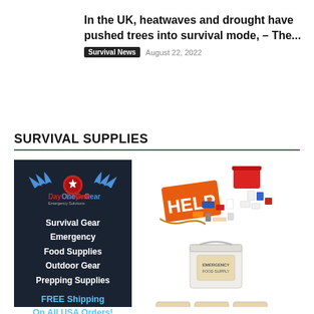In the UK, heatwaves and drought have pushed trees into survival mode, – The...
Survival News  August 22, 2022
SURVIVAL SUPPLIES
[Figure (illustration): DayOneGear advertisement banner showing dark navy background with winged eagle logo, text listing 'Survival Gear, Emergency Food Supplies, Outdoor Gear, Prepping Supplies, FREE Shipping On All USA Orders!' alongside product photos including an emergency HELP kit with supplies spread out, a white food storage bucket, and stacked survival food boxes.]